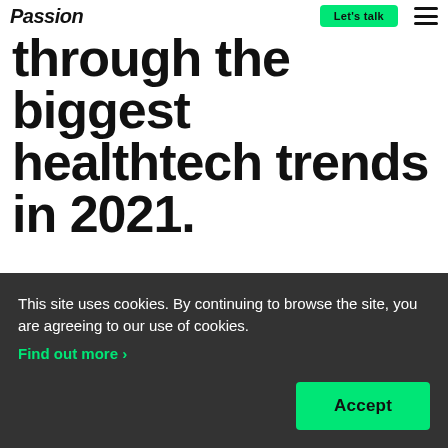Passion — Let's talk
through the biggest healthtech trends in 2021.
The digital health market & funding is growing and will continue to grow
This site uses cookies. By continuing to browse the site, you are agreeing to our use of cookies. Find out more ›
Accept